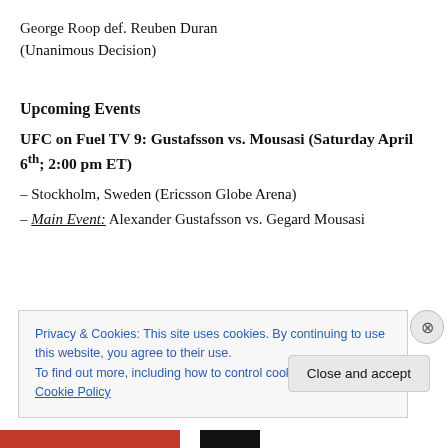George Roop def. Reuben Duran (Unanimous Decision)
Upcoming Events
UFC on Fuel TV 9: Gustafsson vs. Mousasi (Saturday April 6th; 2:00 pm ET)
– Stockholm, Sweden (Ericsson Globe Arena)
– Main Event: Alexander Gustafsson vs. Gegard Mousasi
Privacy & Cookies: This site uses cookies. By continuing to use this website, you agree to their use.
To find out more, including how to control cookies, see here: Cookie Policy
Close and accept